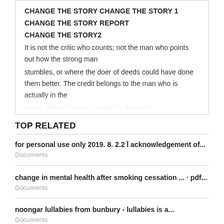CHANGE THE STORY CHANGE THE STORY 1
CHANGE THE STORY REPORT
CHANGE THE STORY2
It is not the critic who counts; not the man who points out how the strong man stumbles, or where the doer of deeds could have done them better. The credit belongs to the man who is actually in the arena, whose face is marred by dust and
TOP RELATED
for personal use only 2019. 8. 2.2 Ī acknowledgement of...
Documents
change in mental health after smoking cessation ... · pdf...
Documents
noongar lullabies from bunbury - lullabies is a...
Documents